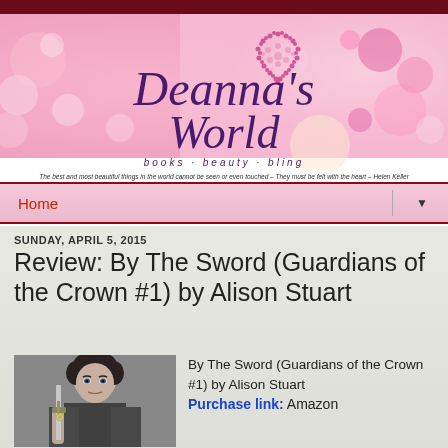[Figure (illustration): Deanna's World blog header banner with pink bokeh background, purple cursive logo text reading Deanna's World, tagline 'books · beauty · bling', and a Helen Keller quote at the bottom]
Home
SUNDAY, APRIL 5, 2015
Review: By The Sword (Guardians of the Crown #1) by Alison Stuart
[Figure (photo): Black and white photo of a dark-haired young man holding a sword, looking intensely at the camera]
By The Sword (Guardians of the Crown #1) by Alison Stuart
Purchase link: Amazon